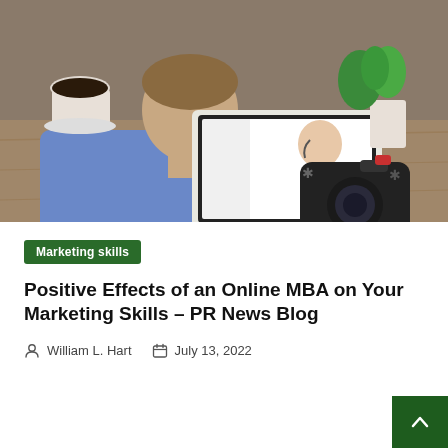[Figure (photo): A man in a blue shirt viewed from behind, sitting at a wooden desk, looking at a laptop screen showing a woman with a headset mic. A camera sits to the right of the laptop. A coffee cup and plant are in the background.]
Marketing skills
Positive Effects of an Online MBA on Your Marketing Skills – PR News Blog
William L. Hart   July 13, 2022